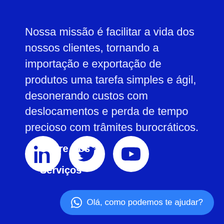Nossa missão é facilitar a vida dos nossos clientes, tornando a importação e exportação de produtos uma tarefa simples e ágil, desonerando custos com deslocamentos e perda de tempo precioso com trâmites burocráticos.
[Figure (infographic): Three white circular social media icons on dark blue background: LinkedIn, Twitter, YouTube]
Sobre Nós
Serviços
Olá, como podemos te ajudar?